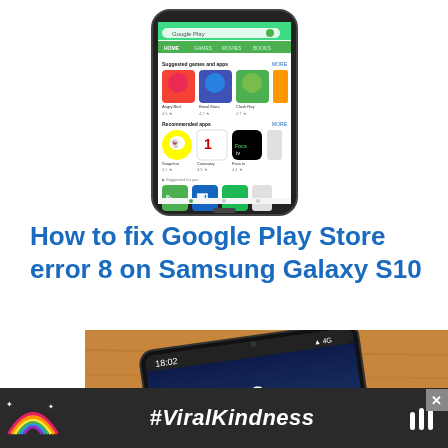[Figure (screenshot): Google Play Store screenshot shown inside a Samsung smartphone frame]
How to fix Google Play Store error 8 on Samsung Galaxy S10
[Figure (photo): Samsung smartphone lying on a wooden surface showing a lock screen with time 18:02]
[Figure (screenshot): Advertisement bar with rainbow logo and #ViralKindness text on dark background]